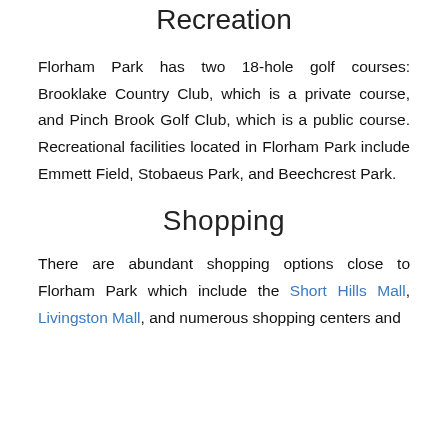Recreation
Florham Park has two 18-hole golf courses: Brooklake Country Club, which is a private course, and Pinch Brook Golf Club, which is a public course. Recreational facilities located in Florham Park include Emmett Field, Stobaeus Park, and Beechcrest Park.
Shopping
There are abundant shopping options close to Florham Park which include the Short Hills Mall, Livingston Mall, and numerous shopping centers and